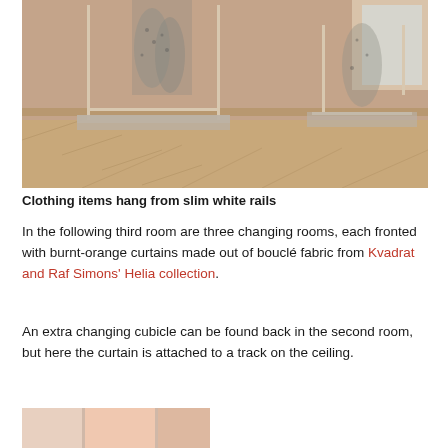[Figure (photo): Interior photograph showing slim white/beige clothing rails with hanging garment items (spotted/printed fabric), on a herringbone wood floor with light walls and a window in the background.]
Clothing items hang from slim white rails
In the following third room are three changing rooms, each fronted with burnt-orange curtains made out of bouclé fabric from Kvadrat and Raf Simons' Helia collection.
An extra changing cubicle can be found back in the second room, but here the curtain is attached to a track on the ceiling.
[Figure (photo): Partial view of another interior photograph showing orange/pink curtains or panels.]